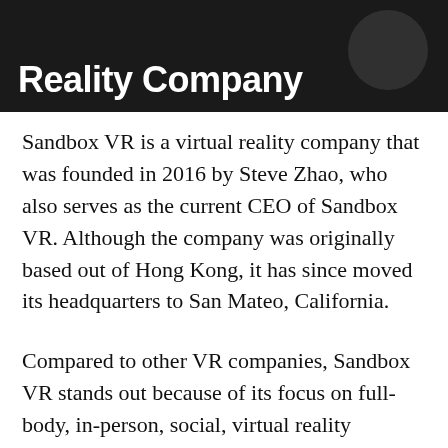Reality Company
Sandbox VR is a virtual reality company that was founded in 2016 by Steve Zhao, who also serves as the current CEO of Sandbox VR. Although the company was originally based out of Hong Kong, it has since moved its headquarters to San Mateo, California.
Compared to other VR companies, Sandbox VR stands out because of its focus on full-body, in-person, social, virtual reality experiences. Instead of strapping on a headset and grabbing controllers while standing alone in your living room, Sandbox VR customers go to physical,